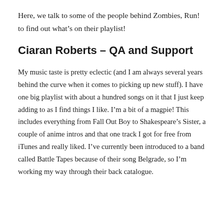Here, we talk to some of the people behind Zombies, Run! to find out what's on their playlist!
Ciaran Roberts – QA and Support
My music taste is pretty eclectic (and I am always several years behind the curve when it comes to picking up new stuff). I have one big playlist with about a hundred songs on it that I just keep adding to as I find things I like. I'm a bit of a magpie! This includes everything from Fall Out Boy to Shakespeare's Sister, a couple of anime intros and that one track I got for free from iTunes and really liked. I've currently been introduced to a band called Battle Tapes because of their song Belgrade, so I'm working my way through their back catalogue.